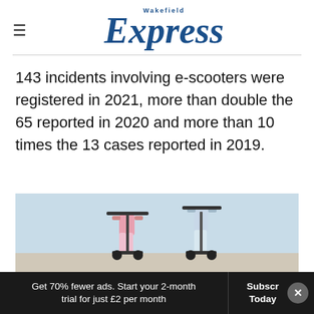Wakefield Express
143 incidents involving e-scooters were registered in 2021, more than double the 65 reported in 2020 and more than 10 times the 13 cases reported in 2019.
[Figure (photo): Two people riding e-scooters outdoors]
Get 70% fewer ads. Start your 2-month trial for just £2 per month | Subscribe Today